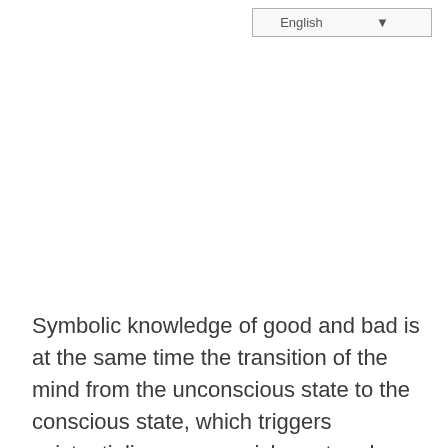English
Symbolic knowledge of good and bad is at the same time the transition of the mind from the unconscious state to the conscious state, which triggers existentialism as a punishment and a burden borne in a man who is not able to penetrate to the end and understand the meaning of existence and his existence and being.